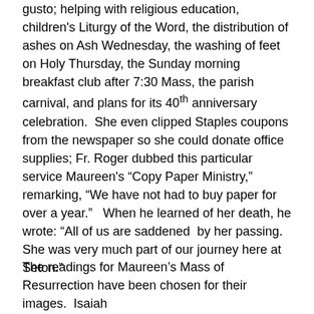gusto; helping with religious education, children's Liturgy of the Word, the distribution of ashes on Ash Wednesday, the washing of feet on Holy Thursday, the Sunday morning breakfast club after 7:30 Mass, the parish carnival, and plans for its 40th anniversary celebration.  She even clipped Staples coupons from the newspaper so she could donate office supplies; Fr. Roger dubbed this particular service Maureen's “Copy Paper Ministry,” remarking, “We have not had to buy paper for over a year.”   When he learned of her death, he wrote: “All of us are saddened  by her passing.  She was very much part of our journey here at Seton.”
The readings for Maureen’s Mass of Resurrection have been chosen for their images.  Isaiah